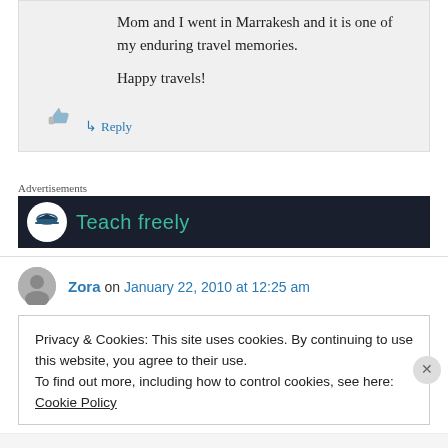Mom and I went in Marrakesh and it is one of my enduring travel memories.

Happy travels!
↳ Reply
Advertisements
[Figure (other): Advertisement banner with dark background showing graduation cap icon and 'Teach freely' text in teal]
Zora on January 22, 2010 at 12:25 am
Privacy & Cookies: This site uses cookies. By continuing to use this website, you agree to their use.
To find out more, including how to control cookies, see here: Cookie Policy
Close and accept